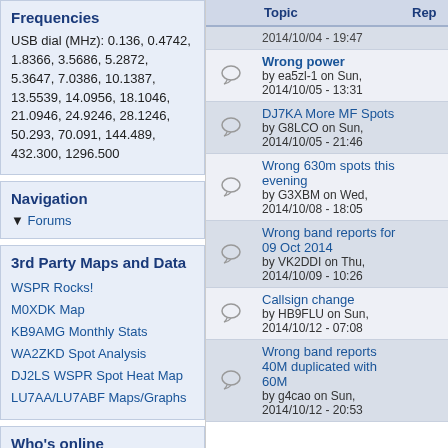Frequencies
USB dial (MHz): 0.136, 0.4742, 1.8366, 3.5686, 5.2872, 5.3647, 7.0386, 10.1387, 13.5539, 14.0956, 18.1046, 21.0946, 24.9246, 28.1246, 50.293, 70.091, 144.489, 432.300, 1296.500
Navigation
Forums
3rd Party Maps and Data
WSPR Rocks!
M0XDK Map
KB9AMG Monthly Stats
WA2ZKD Spot Analysis
DJ2LS WSPR Spot Heat Map
LU7AA/LU7ABF Maps/Graphs
Who's online
| Topic | Rep |
| --- | --- |
| 2014/10/04 - 19:47 |  |
| Wrong power
by ea5zl-1 on Sun, 2014/10/05 - 13:31 |  |
| DJ7KA More MF Spots
by G8LCO on Sun, 2014/10/05 - 21:46 |  |
| Wrong 630m spots this evening
by G3XBM on Wed, 2014/10/08 - 18:05 |  |
| Wrong band reports for 09 Oct 2014
by VK2DDI on Thu, 2014/10/09 - 10:26 |  |
| Callsign change
by HB9FLU on Sun, 2014/10/12 - 07:08 |  |
| Wrong band reports 40M duplicated with 60M
by g4cao on Sun, 2014/10/12 - 20:53 |  |